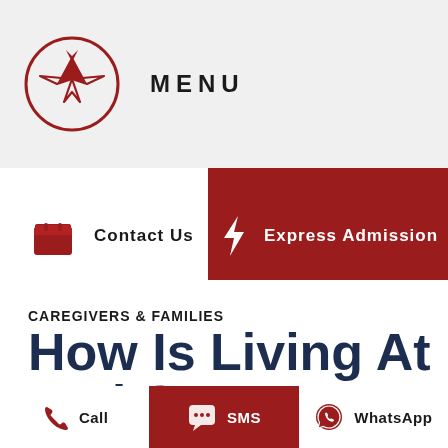MENU
Contact Us
Express Admission
CAREGIVERS & FAMILIES
How Is Living At Red Crowns The
Call
SMS
WhatsApp